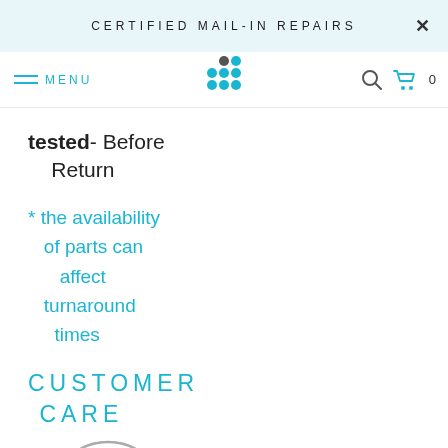CERTIFIED MAIL-IN REPAIRS
MENU
[Figure (logo): Blue dot grid logo (cluster of blue circles with one dark circle)]
tested- Before Return
* the availability of parts can affect turnaround times
CUSTOMER CARE
[Figure (illustration): Circle icon with a person/customer care representative figure in blue, with a heart on the chest, inside a gray circle outline]